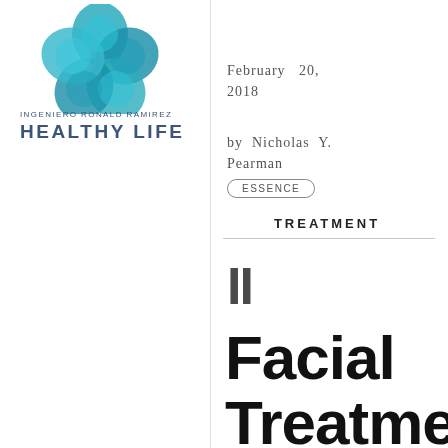[Figure (logo): Ingeniero Ronald Ramirez Healthy Life logo — teal/blue overlapping circle-petal flower graphic above text]
INGENIERO RONALD RAMIREZ
HEALTHY LIFE
February 20, 2018
by Nicholas Y. Pearman
ESSENCE
TREATMENT
II
Facial Treatme